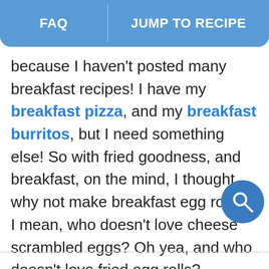FAQ | JUMP TO RECIPE
because I haven't posted many breakfast recipes! I have my breakfast pizza, and my breakfast burritos, but I need something else! So with fried goodness, and breakfast, on the mind, I thought, why not make breakfast egg rolls?! I mean, who doesn't love cheese scrambled eggs? Oh yea, and who doesn't love fried egg rolls?